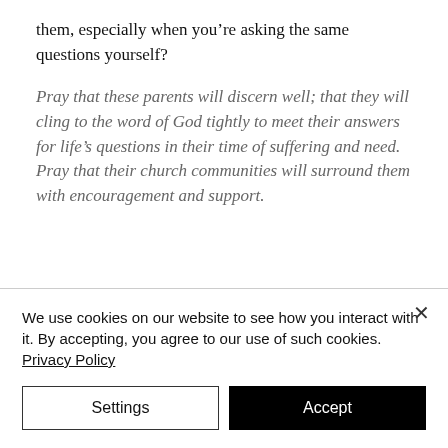them, especially when you're asking the same questions yourself?
Pray that these parents will discern well; that they will cling to the word of God tightly to meet their answers for life's questions in their time of suffering and need. Pray that their church communities will surround them with encouragement and support.
We use cookies on our website to see how you interact with it. By accepting, you agree to our use of such cookies. Privacy Policy